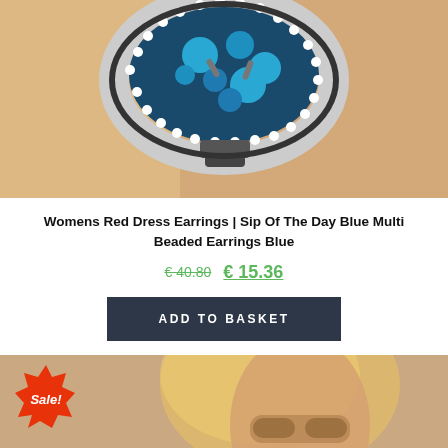[Figure (photo): Close-up photo of a woman wearing large blue multi beaded earrings shaped like a cocktail glass, with turquoise and white beads, against a skin-toned background.]
Womens Red Dress Earrings | Sip Of The Day Blue Multi Beaded Earrings Blue
€ 40.80  € 15.36
ADD TO BASKET
[Figure (photo): Second product listing photo showing a blonde woman wearing sunglasses, with a red Sale! badge in the lower left corner.]